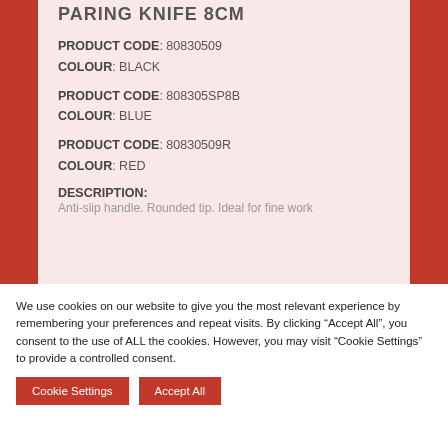PARING KNIFE 8CM
PRODUCT CODE: 80830509
COLOUR: BLACK
PRODUCT CODE: 808305SP8B
COLOUR: BLUE
PRODUCT CODE: 80830509R
COLOUR: RED
DESCRIPTION:
Anti-slip handle. Rounded tip. Ideal for fine work
We use cookies on our website to give you the most relevant experience by remembering your preferences and repeat visits. By clicking “Accept All”, you consent to the use of ALL the cookies. However, you may visit "Cookie Settings" to provide a controlled consent.
Cookie Settings
Accept All